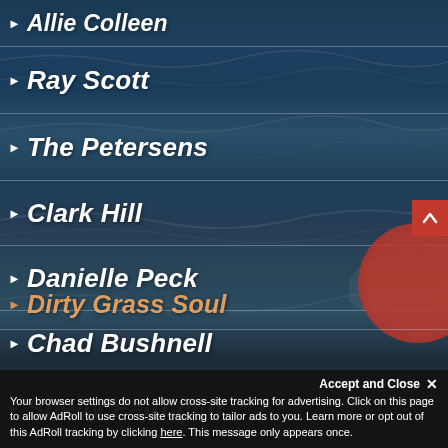▶ Allie Colleen
▶ Ray Scott
▶ The Petersens
▶ Clark Hill
▶ Danielle Peck
▶ Chad Bushnell
▶ Shelly Fairchild
▶ Dirty Grass Soul
Accept and Close ✕
Your browser settings do not allow cross-site tracking for advertising. Click on this page to allow AdRoll to use cross-site tracking to tailor ads to you. Learn more or opt out of this AdRoll tracking by clicking here. This message only appears once.